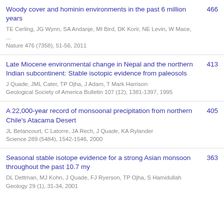Woody cover and hominin environments in the past 6 million years | TE Cerling, JG Wynn, SA Andanje, MI Bird, DK Korir, NE Levin, W Mace, ... | Nature 476 (7358), 51-56, 2011 | 466
Late Miocene environmental change in Nepal and the northern Indian subcontinent: Stable isotopic evidence from paleosols | J Quade, JML Cater, TP Ojha, J Adam, T Mark Harrison | Geological Society of America Bulletin 107 (12), 1381-1397, 1995 | 413
A 22,000-year record of monsoonal precipitation from northern Chile's Atacama Desert | JL Betancourt, C Latorre, JA Rech, J Quade, KA Rylander | Science 289 (5484), 1542-1546, 2000 | 405
Seasonal stable isotope evidence for a strong Asian monsoon throughout the past 10.7 my | DL Dettman, MJ Kohn, J Quade, FJ Ryerson, TP Ojha, S Hamidullah | Geology 29 (1), 31-34, 2001 | 363